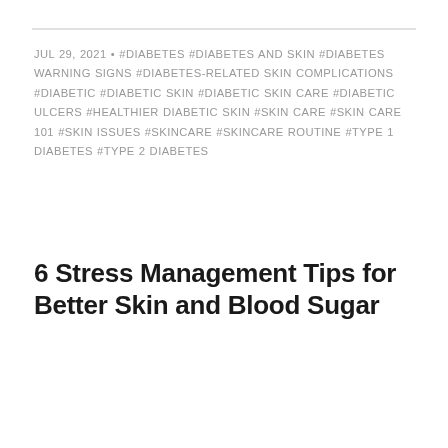JUL 29, 2021 • #DIABETES #DIABETES AND SKIN #DIABETES WARNING SIGNS #DIABETES-RELATED SKIN COMPLICATIONS #DIABETIC #DIABETIC SKIN #DIABETIC SKIN CARE #DIABETIC ULCERS #HEALTHIER DIABETIC SKIN #SKIN CARE #SKIN CARE 101 #SKIN ISSUES #SKINCARE #SKINCARE ROUTINE #TYPE 1 DIABETES #TYPE 2 DIABETES
6 Stress Management Tips for Better Skin and Blood Sugar